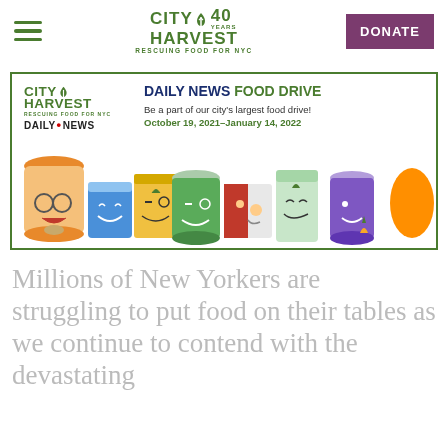City Harvest — 40 Years — Rescuing Food for NYC | DONATE
[Figure (illustration): City Harvest and Daily News Food Drive banner ad with cartoon food characters. Text: DAILY NEWS FOOD DRIVE — Be a part of our city's largest food drive! October 19, 2021–January 14, 2022]
Millions of New Yorkers are struggling to put food on their tables as we continue to contend with the devastating